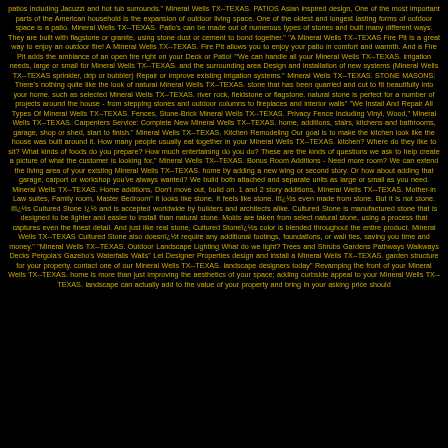patios including Jacuzzi and hot tub surrounds." Mineral Wells TX--TEXAS. PATIOS Asian inspired design, One of the most important parts of the American household is the expansion of outdoor living space. One of the oldest and longest lasting forms of outdoor space is a patio. Mineral Wells TX--TEXAS. Patio's can be made out of numerous types of stones and built many different ways. They are built with flagstone or granite, using stone dust or cement to bond together." "A Mineral Wells TX--TEXAS Fire Pit is a great way to enjoy an outdoor fire! A Mineral Wells TX--TEXAS. Fire Pit allows you to enjoy your patio in comfort and warmth. And a Fire Pit adds the ambiance of an open fire right on your Deck or Patio! '"We can handle all your Mineral Wells TX--TEXAS. irrigation needs, large or small for Mineral Wells TX--TEXAS. and the surrounding area Design and installation of new systems (Mineral Wells TX--TEXAS sprinkler, drip or bubbler) Repair or improve existing irrigation systems." Mineral Wells TX--TEXAS. STONE MASONS: There's nothing quite like the look of natural Mineral Wells TX--TEXAS. stone that has been quarried and cut to fit beautifully into your home. such as selected Mineral Wells TX--TEXAS. river rock, fieldstone or flagstone. natural stone is perfect for a number of projects around the house - from stepping stones and outdoor columns to fireplaces and interior walls" "We Install And Repair All Types Of Mineral Wells TX--TEXAS. Fences, Stone-Brick Mineral Wells TX--TEXAS. Privacy Fence Including Vinyl, Wood," Mineral Wells TX--TEXAS. Carpenters Service: Complete New Mineral Wells TX--TEXAS. home, additions, stairs, kitchens and bathrooms, garage, shop or shed, start to finish." Mineral Wells TX--TEXAS. Kitchen Remodeling Our goal is to make the kitchen look like the house was built around it. How many people usually eat together in your Mineral Wells TX--TEXAS. kitchen? Where do they like to sit? What kinds of foods do you prepare? How much entertaining do you do? These are the kinds of questions we ask to help create a picture of what the customer is looking for," Mineral Wells TX--TEXAS. Bonus Room Additions - Need more room? We can extend the living area of your existing Mineral Wells TX--TEXAS. home by adding a new wing or second story. Or how about adding that garage, carport or workshop you've always wanted? We build both attached and separate units as large or small as you need. Mineral Wells TX--TEXAS. Home additions, Don't move out, build on. 1 and 2 story additions, Mineral Wells TX--TEXAS. Mother-in Law suites, Family room, Master Bedroom" It looks like stone. It feels like stone. Itï¿½s even made from stone. But it is not stone. Itï¿½s Cultured Stone ï¿½ and is accepted worldwide by builders and architects alike. Cultured Stone is manufactured stone that is designed to be lighter and easier to install than natural stone. Molds are taken from select natural stone, using a process that captures even the finest detail. And just like real stone, Cultured Stoneï¿½s color is blended throughout the entire product. Mineral Wells TX--TEXAS Cultured Stone also doesnï¿½t require any additional footings, foundations, or wall ties, saving you time and money." "Mineral Wells TX--TEXAS. Outdoor Landscape Lighting What do we light? Trees and Shrubs Gardens Pathways Walkways Decks Pergola's Gazebo's Waterfalls Walls" Let Designer Properties design and install a Mineral Wells TX--TEXAS. garden structure for your property. contact one of our Mineral Wells TX--TEXAS. landscape designers today" Revamping the front of your Mineral Wells TX--TEXAS. home is more than just improving the aesthetics of your space; adding curbside appeal to your Mineral Wells TX--TEXAS. landscape can actually add to the value of your property and bring in your asking price should